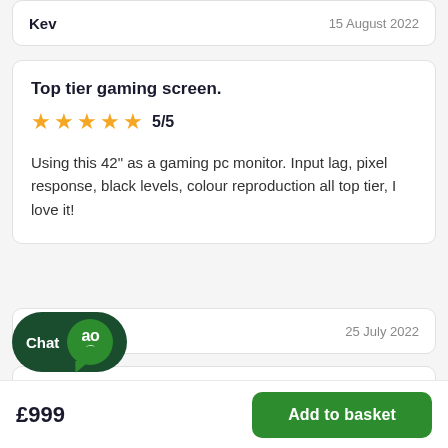Kev	15 August 2022
Top tier gaming screen.
5/5
Using this 42" as a gaming pc monitor. Input lag, pixel response, black levels, colour reproduction all top tier, I love it!
Paul	25 July 2022
e TV
5/5
£999
Add to basket
Chat